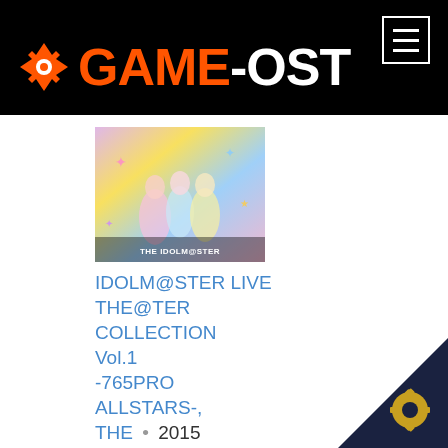GAME-OST
[Figure (screenshot): Album cover thumbnail for IDOLM@STER LIVE THE@TER COLLECTION Vol.1 -765PRO ALLSTARS-]
IDOLM@STER LIVE THE@TER COLLECTION Vol.1 -765PRO ALLSTARS-, THE • 2015
Digital
[Figure (screenshot): Second album cover thumbnail (partially visible)]